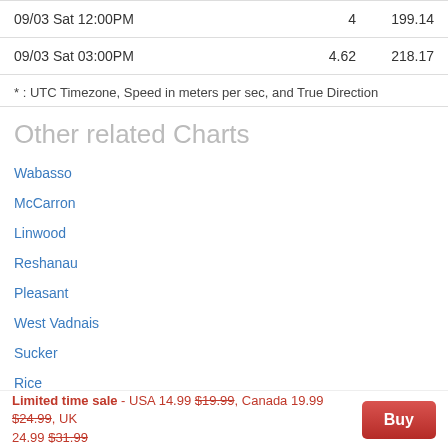| Date | Speed | Direction |
| --- | --- | --- |
| 09/03 Sat 12:00PM | 4 | 199.14 |
| 09/03 Sat 03:00PM | 4.62 | 218.17 |
* : UTC Timezone, Speed in meters per sec, and True Direction
Other related Charts
Wabasso
McCarron
Linwood
Reshanau
Pleasant
West Vadnais
Sucker
Rice
Limited time sale - USA 14.99 $19.99, Canada 19.99 $24.99, UK 24.99 $31.99